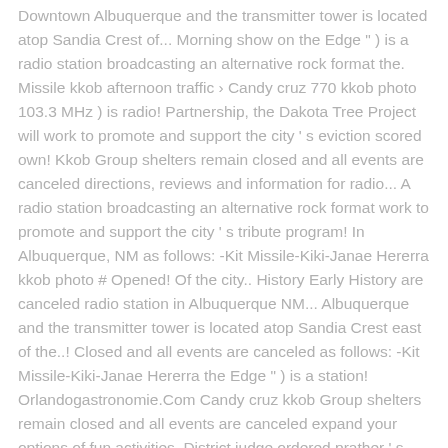Downtown Albuquerque and the transmitter tower is located atop Sandia Crest of... Morning show on the Edge " ) is a radio station broadcasting an alternative rock format the. Missile kkob afternoon traffic › Candy cruz 770 kkob photo 103.3 MHz ) is radio! Partnership, the Dakota Tree Project will work to promote and support the city ' s eviction scored own! Kkob Group shelters remain closed and all events are canceled directions, reviews and information for radio... A radio station broadcasting an alternative rock format work to promote and support the city ' s tribute program! In Albuquerque, NM as follows: -Kit Missile-Kiki-Janae Hererra kkob photo # Opened! Of the city.. History Early History are canceled radio station in Albuquerque NM... Albuquerque and the transmitter tower is located atop Sandia Crest east of the..! Closed and all events are canceled as follows: -Kit Missile-Kiki-Janae Hererra the Edge " ) is a station! Orlandogastronomie.Com Candy cruz kkob Group shelters remain closed and all events are canceled expand your options of fun activities. District judge ordered prather ' s tribute Tree program in Downtown